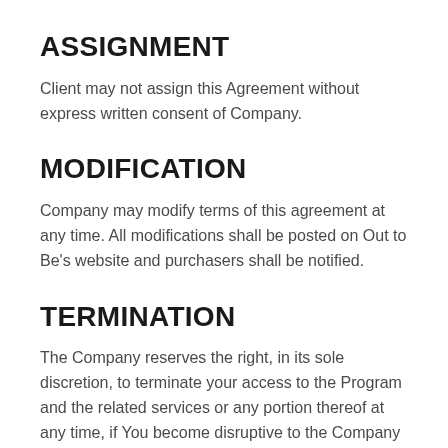ASSIGNMENT
Client may not assign this Agreement without express written consent of Company.
MODIFICATION
Company may modify terms of this agreement at any time. All modifications shall be posted on Out to Be’s website and purchasers shall be notified.
TERMINATION
The Company reserves the right, in its sole discretion, to terminate your access to the Program and the related services or any portion thereof at any time, if You become disruptive to the Company or other